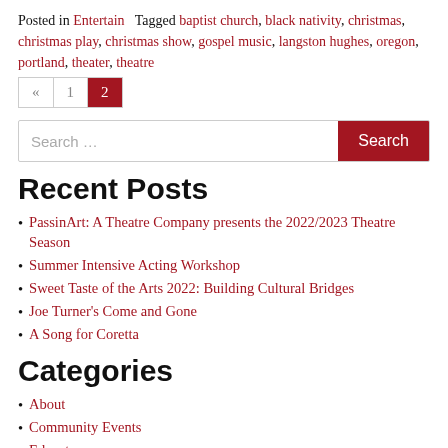Posted in Entertain  Tagged baptist church, black nativity, christmas, christmas play, christmas show, gospel music, langston hughes, oregon, portland, theater, theatre
Pagination: « 1 2
Search ...
Recent Posts
PassinArt: A Theatre Company presents the 2022/2023 Theatre Season
Summer Intensive Acting Workshop
Sweet Taste of the Arts 2022: Building Cultural Bridges
Joe Turner's Come and Gone
A Song for Coretta
Categories
About
Community Events
Educate